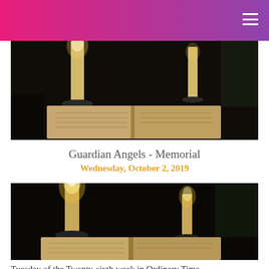[Figure (photo): Navigation header bar with pink-to-purple gradient and hamburger menu icon in top right]
[Figure (photo): Photo of two candles in candleholders on a dark altar with an open book, dimly lit church interior]
Guardian Angels - Memorial
Wednesday, October 2, 2019
[Figure (photo): Second photo of two lit candles in candleholders on a dark altar with an open book, dimly lit church interior]
Tuesday of the Twenty-sixth week in Ordinary Time